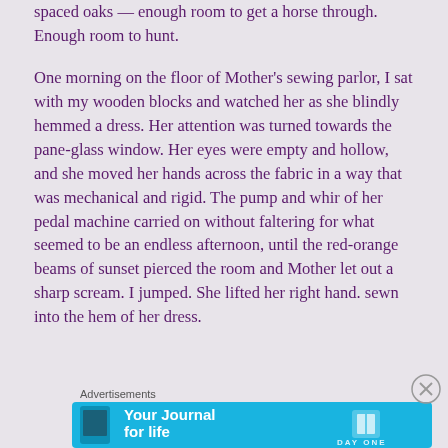spaced oaks — enough room to get a horse through. Enough room to hunt.
One morning on the floor of Mother's sewing parlor, I sat with my wooden blocks and watched her as she blindly hemmed a dress. Her attention was turned towards the pane-glass window. Her eyes were empty and hollow, and she moved her hands across the fabric in a way that was mechanical and rigid. The pump and whir of her pedal machine carried on without faltering for what seemed to be an endless afternoon, until the red-orange beams of sunset pierced the room and Mother let out a sharp scream. I jumped. She lifted her right hand. sewn into the hem of her dress.
Advertisements
[Figure (other): Advertisement banner for 'Day One' app — Your Journal for life, shown on blue background with phone graphic and Day One logo]